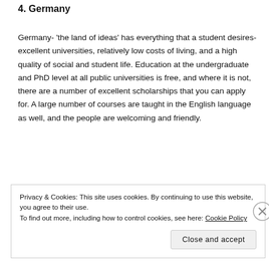4. Germany
Germany- 'the land of ideas' has everything that a student desires- excellent universities, relatively low costs of living, and a high quality of social and student life. Education at the undergraduate and PhD level at all public universities is free, and where it is not, there are a number of excellent scholarships that you can apply for. A large number of courses are taught in the English language as well, and the people are welcoming and friendly.
Privacy & Cookies: This site uses cookies. By continuing to use this website, you agree to their use.
To find out more, including how to control cookies, see here: Cookie Policy